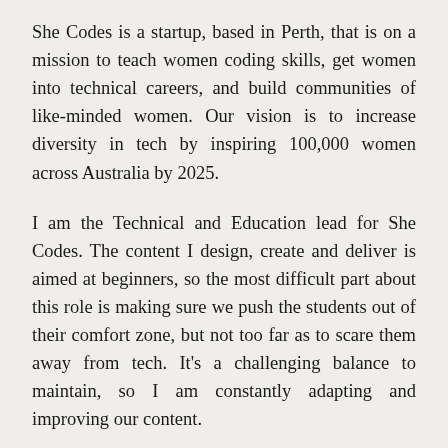She Codes is a startup, based in Perth, that is on a mission to teach women coding skills, get women into technical careers, and build communities of like-minded women. Our vision is to increase diversity in tech by inspiring 100,000 women across Australia by 2025.
I am the Technical and Education lead for She Codes. The content I design, create and deliver is aimed at beginners, so the most difficult part about this role is making sure we push the students out of their comfort zone, but not too far as to scare them away from tech. It's a challenging balance to maintain, so I am constantly adapting and improving our content.